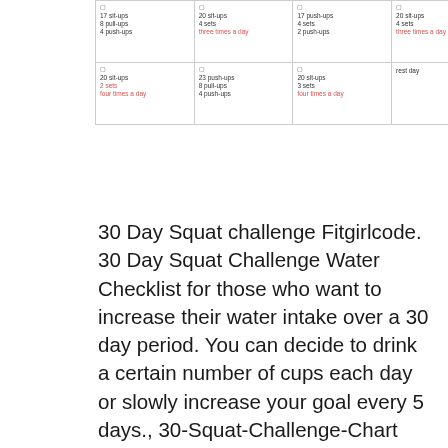[Figure (other): Partial view of a 30-day fitness calendar/grid showing push-up and sit-up exercise schedules. Some text in red indicates frequency (e.g., 'three times a day'). Grid shows approximately 2 rows of 6 columns each.]
30 Day Squat challenge Fitgirlcode. 30 Day Squat Challenge Water Checklist for those who want to increase their water intake over a 30 day period. You can decide to drink a certain number of cups each day or slowly increase your goal every 5 days., 30-Squat-Challenge-Chart You can easily share these Workout Challenge Chart with your friends, family and your followers. In the end of the post we have provided some buttons that will help you to share this post on some popular social networking